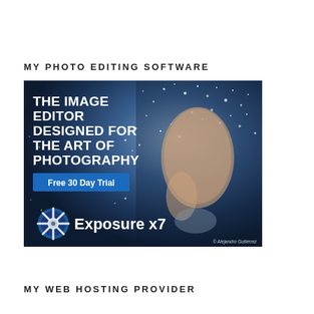MY PHOTO EDITING SOFTWARE
[Figure (advertisement): Advertisement for Exposure X7 photo editing software showing a woman with sparkle/particle effects. Text: 'THE IMAGE EDITOR DESIGNED FOR THE ART OF PHOTOGRAPHY', 'Free 30 Day Trial', Exposure X7 logo and product name. Copyright: © Alejandro Gutierrez]
MY WEB HOSTING PROVIDER